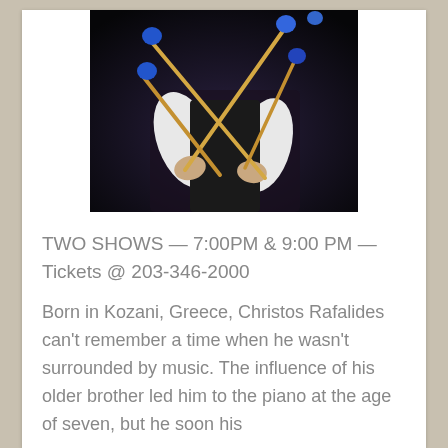[Figure (photo): A person holding marimba/vibraphone mallets with blue ends and wooden handles crossed in their hands, wearing a dark vest and white shirt, dark background]
TWO SHOWS — 7:00PM & 9:00 PM — Tickets @ 203-346-2000
Born in Kozani, Greece, Christos Rafalides can't remember a time when he wasn't surrounded by music. The influence of his older brother led him to the piano at the age of seven, but he soon his